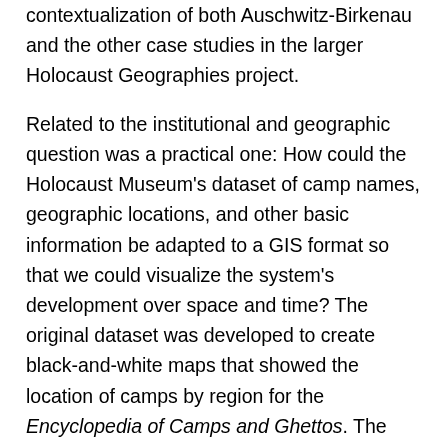contextualization of both Auschwitz-Birkenau and the other case studies in the larger Holocaust Geographies project.
Related to the institutional and geographic question was a practical one: How could the Holocaust Museum's dataset of camp names, geographic locations, and other basic information be adapted to a GIS format so that we could visualize the system's development over space and time? The original dataset was developed to create black-and-white maps that showed the location of camps by region for the Encyclopedia of Camps and Ghettos. The historians who entered the data used what is called natural language—for example, words for days, months, and seasons. This preserved the level of specificity, as well as the ambiguity and uncertainty, of the historical